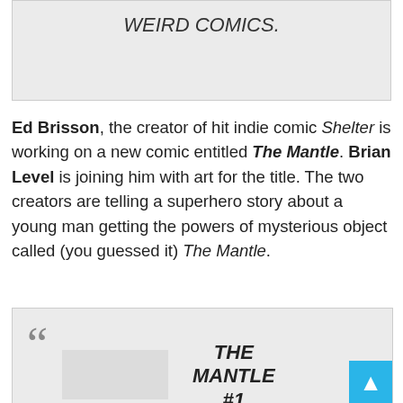[Figure (other): Gray quote box showing italic text 'WEIRD COMICS.' at the top]
Ed Brisson, the creator of hit indie comic Shelter is working on a new comic entitled The Mantle. Brian Level is joining him with art for the title. The two creators are telling a superhero story about a young man getting the powers of mysterious object called (you guessed it) The Mantle.
[Figure (other): Gray quote box with large open-quote mark, a book cover placeholder image on the left, and bold italic text 'THE MANTLE #1' on the right]